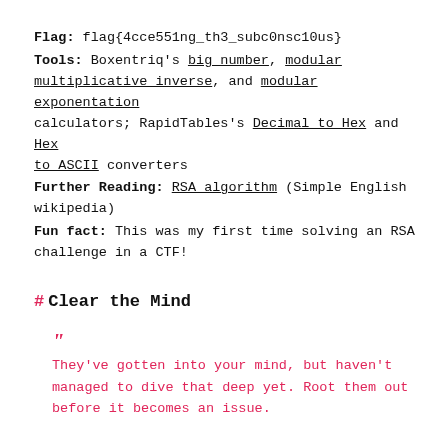Flag: flag{4cce551ng_th3_subc0nsc10us}
Tools: Boxentriq's big number, modular multiplicative inverse, and modular exponentation calculators; RapidTables's Decimal to Hex and Hex to ASCII converters
Further Reading: RSA algorithm (Simple English wikipedia)
Fun fact: This was my first time solving an RSA challenge in a CTF!
# Clear the Mind
They’ve gotten into your mind, but haven’t managed to dive that deep yet. Root them out before it becomes an issue.